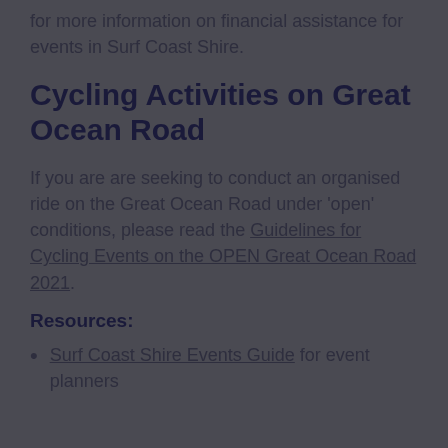for more information on financial assistance for events in Surf Coast Shire.
Cycling Activities on Great Ocean Road
If you are are seeking to conduct an organised ride on the Great Ocean Road under 'open' conditions, please read the Guidelines for Cycling Events on the OPEN Great Ocean Road 2021.
Resources:
Surf Coast Shire Events Guide for event planners